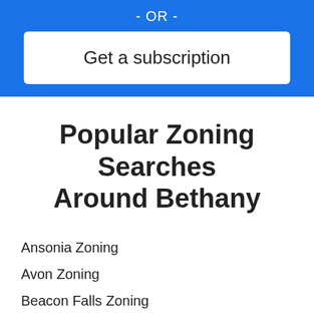- OR -
Get a subscription
Popular Zoning Searches Around Bethany
Ansonia Zoning
Avon Zoning
Beacon Falls Zoning
Berlin Zoning